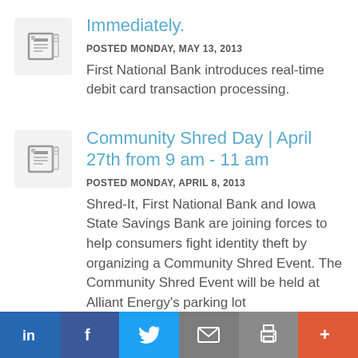Immediately.
POSTED MONDAY, MAY 13, 2013
First National Bank introduces real-time debit card transaction processing.
Community Shred Day | April 27th from 9 am - 11 am
POSTED MONDAY, APRIL 8, 2013
Shred-It, First National Bank and Iowa State Savings Bank are joining forces to help consumers fight identity theft by organizing a Community Shred Event. The Community Shred Event will be held at Alliant Energy's parking lot
in  f  Twitter  Email  Print  +